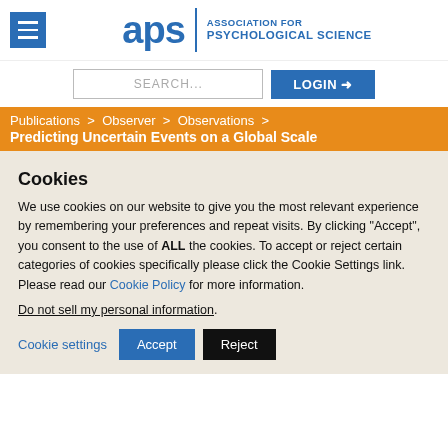[Figure (logo): APS Association for Psychological Science logo with hamburger menu icon]
[Figure (screenshot): Search bar and Login button UI elements]
Publications > Observer > Observations > Predicting Uncertain Events on a Global Scale
Cookies
We use cookies on our website to give you the most relevant experience by remembering your preferences and repeat visits. By clicking “Accept”, you consent to the use of ALL the cookies. To accept or reject certain categories of cookies specifically please click the Cookie Settings link. Please read our Cookie Policy for more information.
Do not sell my personal information.
Cookie settings  Accept  Reject